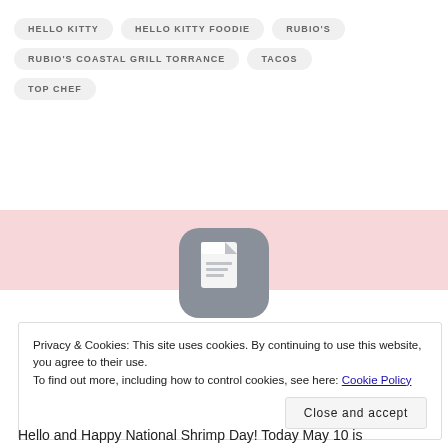HELLO KITTY
HELLO KITTY FOODIE
RUBIO'S
RUBIO'S COASTAL GRILL TORRANCE
TACOS
TOP CHEF
[Figure (illustration): Gray rounded document icon centered in a pink horizontal band]
Privacy & Cookies: This site uses cookies. By continuing to use this website, you agree to their use.
To find out more, including how to control cookies, see here: Cookie Policy
Close and accept
Hello and Happy National Shrimp Day! Today May 10 is